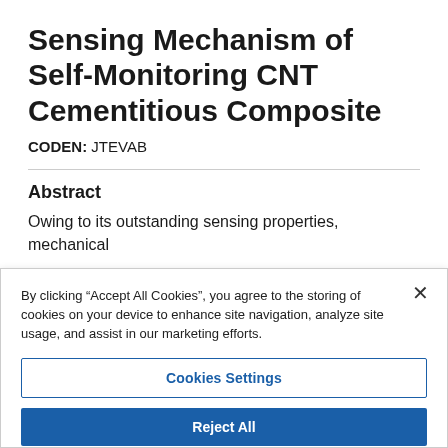Sensing Mechanism of Self-Monitoring CNT Cementitious Composite
CODEN: JTEVAB
Abstract
Owing to its outstanding sensing properties, mechanical
By clicking “Accept All Cookies”, you agree to the storing of cookies on your device to enhance site navigation, analyze site usage, and assist in our marketing efforts.
Cookies Settings
Reject All